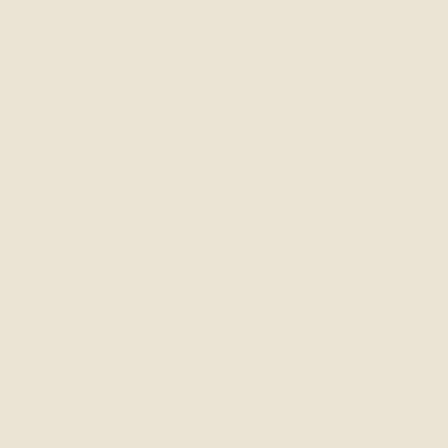| select | NC | gene | description |
| --- | --- | --- | --- |
| ☐ | NC_010552 | BamMC406_3956 | response receiver diguanyla... |
| ☐ | NC_008700 | Sama_0748 | response receiver ... |
| ☐ | NC_007974 | Rmet_3967 | putative regulator component... |
| ☐ | NC_013440 | Hoch_0319 | diguanyla... |
| ☐ | NC_007511 | Bcep18194_B2018 | response receiver diguanyla... |
| ☐ | NC_013422 | Hneap_0133 | response receiver diguanyla... |
| ☐ | NC_013173 | Dbac_2032 | response receiver diguanyla... |
Page 1 of 3   << first  < prev  1  2  3  n...
Refresh table to show selected only